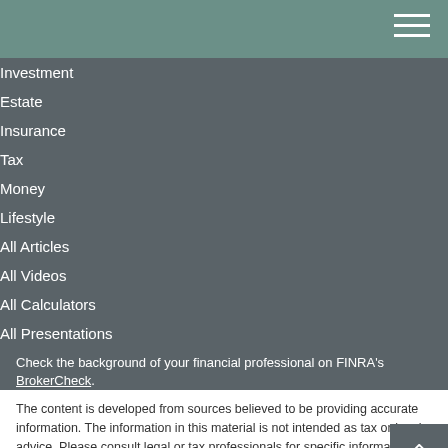Investment
Estate
Insurance
Tax
Money
Lifestyle
All Articles
All Videos
All Calculators
All Presentations
Check the background of your financial professional on FINRA's BrokerCheck.
The content is developed from sources believed to be providing accurate information. The information in this material is not intended as tax or legal advice. Please consult legal or tax professionals for specific information regarding your individual situation. Some of this material was developed and produced by